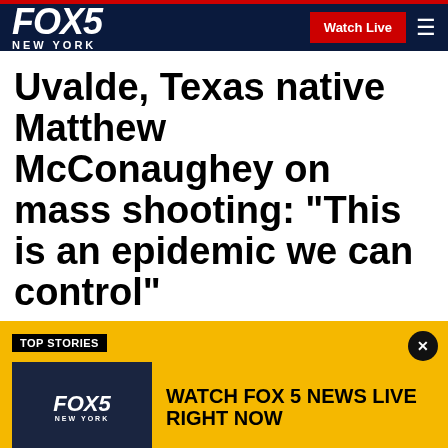FOX 5 NEW YORK — Watch Live
Uvalde, Texas native Matthew McConaughey on mass shooting: "This is an epidemic we can control"
TOP STORIES
[Figure (screenshot): FOX 5 New York logo on dark city skyline background]
WATCH FOX 5 NEWS LIVE RIGHT NOW